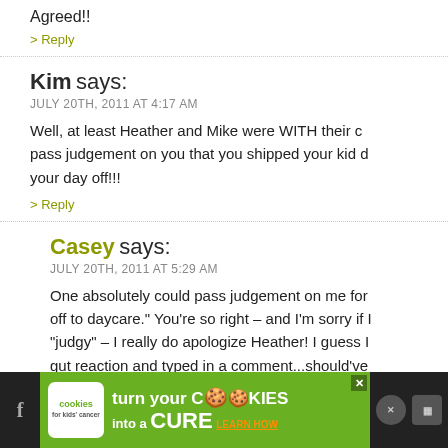Agreed!!
> Reply
Kim says:
JULY 20TH, 2011 AT 4:17 AM
Well, at least Heather and Mike were WITH their c… pass judgement on you that you shipped your kid o… your day off!!!
> Reply
Casey says:
JULY 20TH, 2011 AT 5:29 AM
One absolutely could pass judgement on me for… off to daycare." You're so right – and I'm sorry if I… "judgy" – I really do apologize Heather! I guess I… gut reaction and typed in a comment...should've… can see how it can cause issues, as my defenses i…
[Figure (screenshot): Advertisement banner: Cookies for Kids' Cancer - turn your COOKIES into a CURE LEARN HOW]